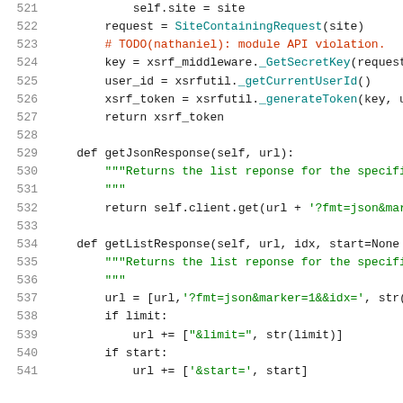Code listing lines 521-541: Python source code showing methods getJsonResponse and getListResponse
[Figure (screenshot): Python source code snippet showing lines 521-541 with syntax highlighting. Lines include self.site assignment, SiteContainingRequest call, TODO comment, xsrf_middleware._GetSecretKey, xsrfutil._getCurrentUserId, xsrfutil._generateToken, return xsrf_token, def getJsonResponse, docstring, return self.client.get, def getListResponse, docstring, url list construction, if limit block, if start block.]